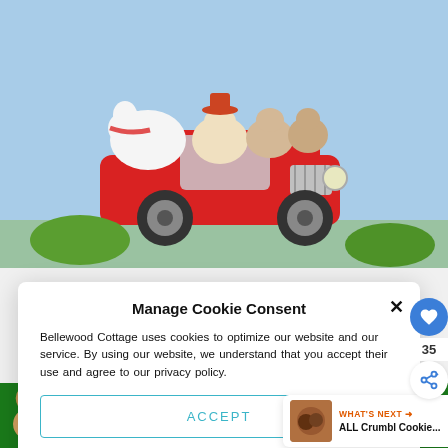[Figure (illustration): Children's book illustration: cartoon animals (guinea pigs/hamsters) riding in a red jeep/car against a blue sky background]
Manage Cookie Consent
Bellewood Cottage uses cookies to optimize our website and our service. By using our website, we understand that you accept their use and agree to our privacy policy.
ACCEPT
Privacy Policy   Privacy Policy
[Figure (screenshot): What's next panel showing ALL Crumbl Cookie... with thumbnail image, orange arrow label]
[Figure (infographic): Bottom advertisement bar: green background with dog image and CHANGE A LIFE text in white italic bold letters]